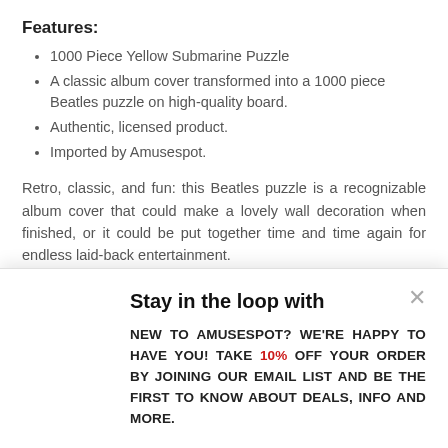Features:
1000 Piece Yellow Submarine Puzzle
A classic album cover transformed into a 1000 piece Beatles puzzle on high-quality board.
Authentic, licensed product.
Imported by Amusespot.
Retro, classic, and fun: this Beatles puzzle is a recognizable album cover that could make a lovely wall decoration when finished, or it could be put together time and time again for endless laid-back entertainment.
Every one of our Yellow Submarine puzzles is printed
Stay in the loop with
NEW TO AMUSESPOT? WE'RE HAPPY TO HAVE YOU! TAKE 10% OFF YOUR ORDER BY JOINING OUR EMAIL LIST AND BE THE FIRST TO KNOW ABOUT DEALS, INFO AND MORE.